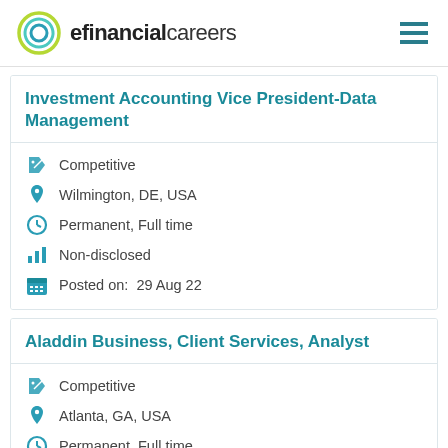efinancialcareers
Investment Accounting Vice President-Data Management
Competitive
Wilmington, DE, USA
Permanent, Full time
Non-disclosed
Posted on: 29 Aug 22
Aladdin Business, Client Services, Analyst
Competitive
Atlanta, GA, USA
Permanent, Full time